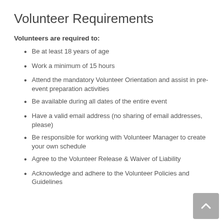Volunteer Requirements
Volunteers are required to:
Be at least 18 years of age
Work a minimum of 15 hours
Attend the mandatory Volunteer Orientation and assist in pre-event preparation activities
Be available during all dates of the entire event
Have a valid email address (no sharing of email addresses, please)
Be responsible for working with Volunteer Manager to create your own schedule
Agree to the Volunteer Release & Waiver of Liability
Acknowledge and adhere to the Volunteer Policies and Guidelines